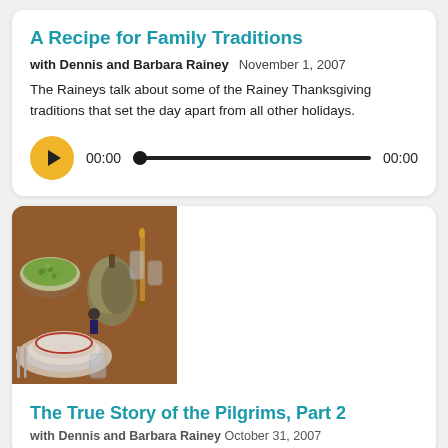A Recipe for Family Traditions
with Dennis and Barbara Rainey   November 1, 2007
The Raineys talk about some of the Rainey Thanksgiving traditions that set the day apart from all other holidays.
[Figure (other): Audio player with yellow play button, time display 00:00, scrubber bar, and end time 00:00]
[Figure (photo): A Thanksgiving dinner table set with dishes, a bowl of green peas, glassware, a decorative gourd centerpiece, and festive figurines]
The True Story of the Pilgrims, Part 2
with Dennis and Barbara Rainey   October 31, 2007